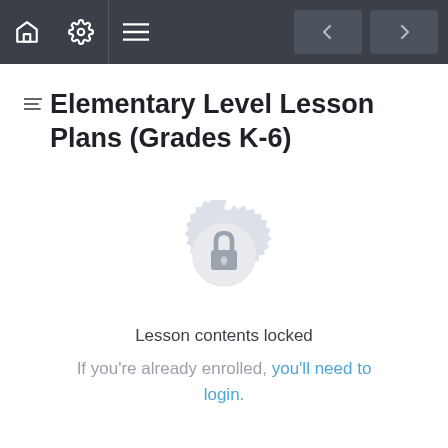Navigation bar with home, settings, menu icons and prev/next buttons
Elementary Level Lesson Plans (Grades K-6)
[Figure (illustration): A lock icon centered inside a decorative circular badge/seal shape rendered in light gray, indicating locked content.]
Lesson contents locked
If you're already enrolled, you'll need to login.